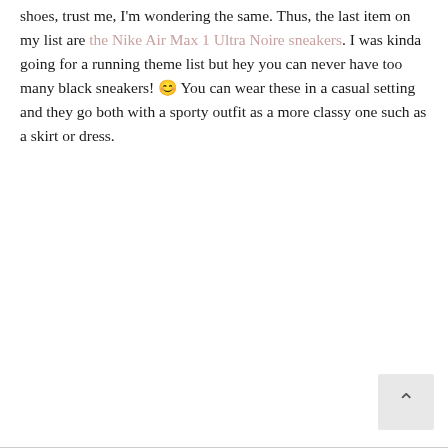shoes, trust me, I'm wondering the same. Thus, the last item on my list are the Nike Air Max 1 Ultra Noire sneakers. I was kinda going for a running theme list but hey you can never have too many black sneakers! 😊 You can wear these in a casual setting and they go both with a sporty outfit as a more classy one such as a skirt or dress.